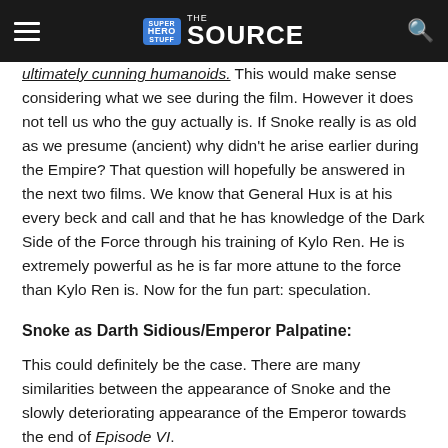Super Hero Stuff — The Source
ultimately cunning humanoids.  This would make sense considering what we see during the film.  However it does not tell us who the guy actually is.  If Snoke really is as old as we presume (ancient) why didn't he arise earlier during the Empire?  That question will hopefully be answered in the next two films.  We know that General Hux is at his every beck and call and that he has knowledge of the Dark Side of the Force through his training of Kylo Ren.  He is extremely powerful as he is far more attune to the force than Kylo Ren is. Now for the fun part: speculation.
Snoke as Darth Sidious/Emperor Palpatine:
This could definitely be the case.  There are many similarities between the appearance of Snoke and the slowly deteriorating appearance of the Emperor towards the end of Episode VI.